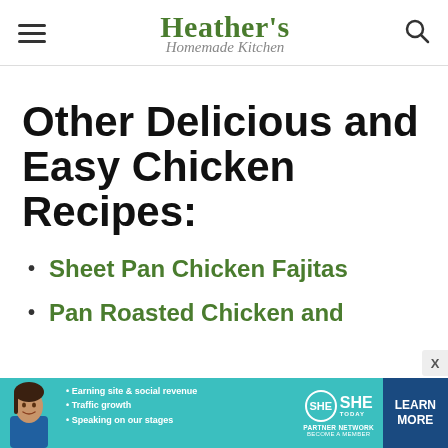Heather's Homemade Kitchen
Other Delicious and Easy Chicken Recipes:
Sheet Pan Chicken Fajitas
Pan Roasted Chicken and
[Figure (screenshot): SHE Media partner network advertisement banner with photo of woman, bullet points about earning site & social revenue, traffic growth, speaking on stages, SHE TODAY logo, and LEARN MORE button]